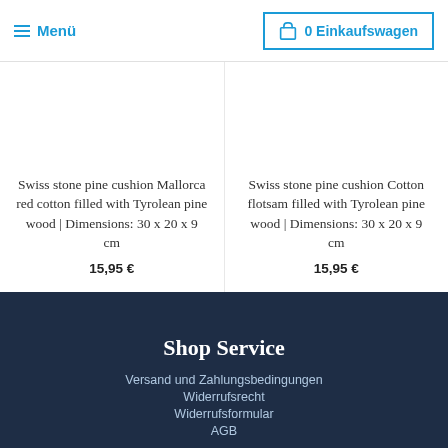Menü | 0 Einkaufswagen
Swiss stone pine cushion Mallorca red cotton filled with Tyrolean pine wood | Dimensions: 30 x 20 x 9 cm
15,95 €
Swiss stone pine cushion Cotton flotsam filled with Tyrolean pine wood | Dimensions: 30 x 20 x 9 cm
15,95 €
Shop Service
Versand und Zahlungsbedingungen
Widerrufsrecht
Widerrufsformular
AGB